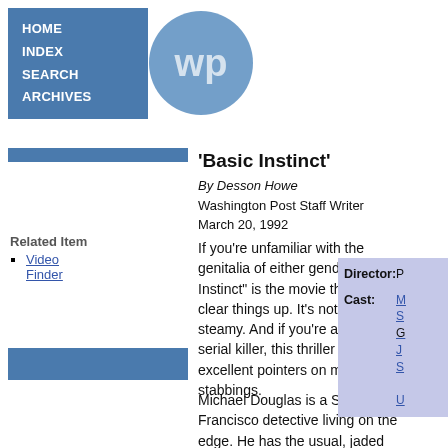[Figure (logo): Washington Post website navigation logo with HOME, INDEX, SEARCH, ARCHIVES links and circular WP logo]
'Basic Instinct'
By Desson Howe
Washington Post Staff Writer
March 20, 1992
Related Item
Go to Video Finder
If you're unfamiliar with the genitalia of either gender, "Basic Instinct" is the movie that will clear things up. It's nothing if not steamy. And if you're an aspiring serial killer, this thriller has some excellent pointers on multiple stabbings.
Michael Douglas is a San Francisco detective living on the edge. He has the usual, jaded detective problems: He drinks,
| Director: | Cast: |
| --- | --- |
| P | M
S
G
J
S
U |